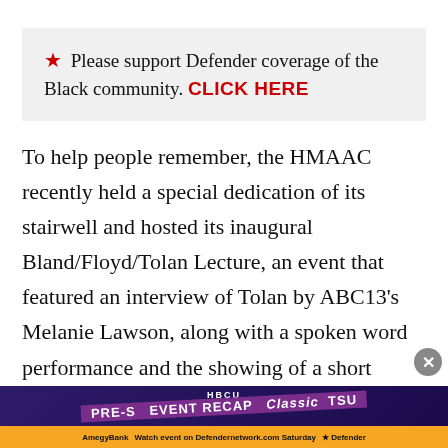★ Please support Defender coverage of the Black community. CLICK HERE
To help people remember, the HMAAC recently held a special dedication of its stairwell and hosted its inaugural Bland/Floyd/Tolan Lecture, an event that featured an interview of Tolan by ABC13's Melanie Lawson, along with a spoken word performance and the showing of a short documentary featuring Tolan and his mother
[Figure (screenshot): Advertisement banner for HBCU Classic PRE-S EVENT RECAP featuring AmegyBank and Defender network branding]